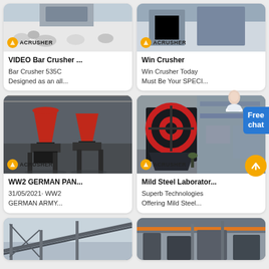[Figure (screenshot): Screenshot of a search results page showing industrial crusher machine listings in a 2-column card grid layout. Each card has a product photo with an ACRUSHER logo watermark, a bold title, and a short description. UI elements include a blue 'Free chat' button and an orange scroll-to-top arrow button on the right side.]
VIDEO Bar Crusher ...
Bar Crusher 535C
Designed as an all...
Win Crusher
Win Crusher Today
Must Be Your SPECI...
WW2 GERMAN PAN...
31/05/2021· WW2
GERMAN ARMY...
Mild Steel Laborator...
Superb Technologies
Offering Mild Steel...